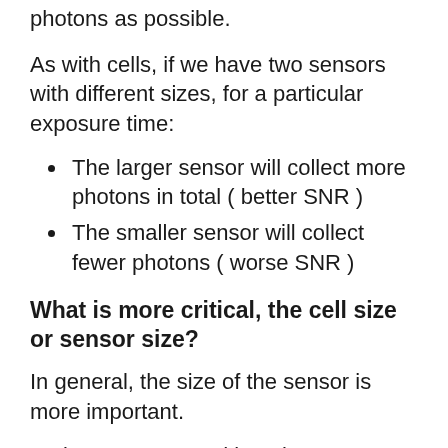photons as possible.
As with cells, if we have two sensors with different sizes, for a particular exposure time:
The larger sensor will collect more photons in total ( better SNR )
The smaller sensor will collect fewer photons ( worse SNR )
What is more critical, the cell size or sensor size?
In general, the size of the sensor is more important.
An image generated by a large sensor will have higher quality (higher SNR) than the